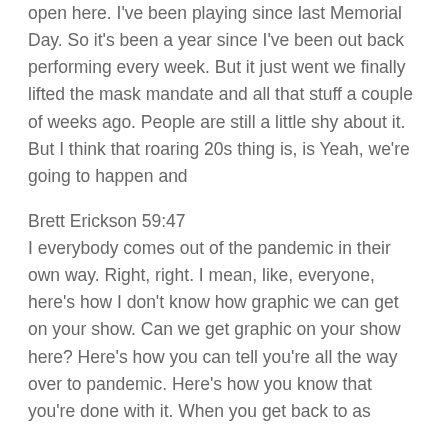open here. I've been playing since last Memorial Day. So it's been a year since I've been out back performing every week. But it just went we finally lifted the mask mandate and all that stuff a couple of weeks ago. People are still a little shy about it. But I think that roaring 20s thing is, is Yeah, we're going to happen and
Brett Erickson 59:47
I everybody comes out of the pandemic in their own way. Right, right. I mean, like, everyone, here's how I don't know how graphic we can get on your show. Can we get graphic on your show here? Here's how you can tell you're all the way over to pandemic. Here's how you know that you're done with it. When you get back to as